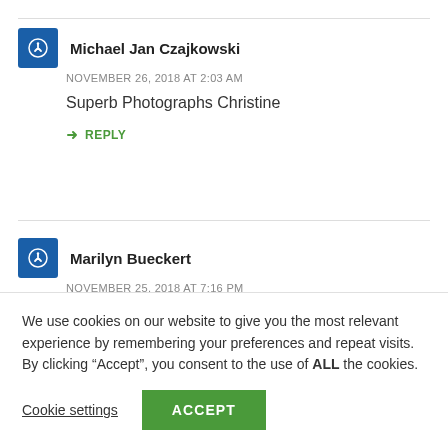Michael Jan Czajkowski
NOVEMBER 26, 2018 AT 2:03 AM
Superb Photographs Christine
↳ REPLY
Marilyn Bueckert
NOVEMBER 25, 2018 AT 7:16 PM
It is cooler here, now, but still have plants blooming and
We use cookies on our website to give you the most relevant experience by remembering your preferences and repeat visits. By clicking “Accept”, you consent to the use of ALL the cookies.
Cookie settings
ACCEPT